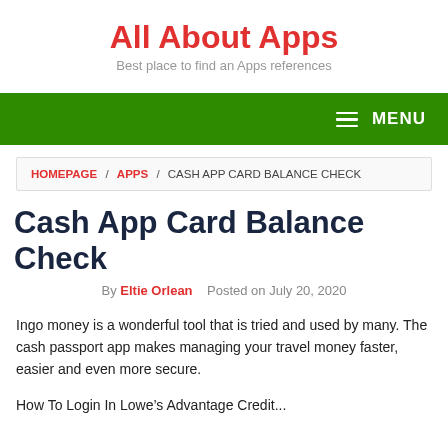All About Apps
Best place to find an Apps references
≡ MENU
HOMEPAGE / APPS / CASH APP CARD BALANCE CHECK
Cash App Card Balance Check
By Eltie Orlean   Posted on July 20, 2020
Ingo money is a wonderful tool that is tried and used by many. The cash passport app makes managing your travel money faster, easier and even more secure.
How To Login In Lowe's Advantage Credit...